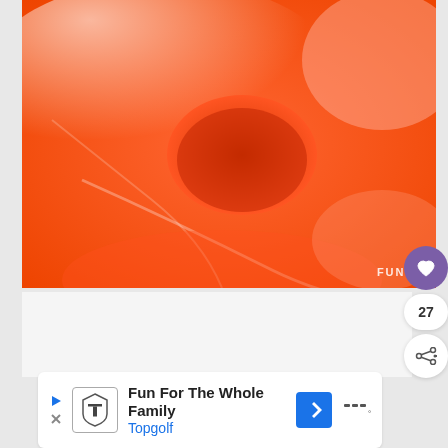[Figure (photo): Close-up photograph of a shiny orange plastic/latex surface with a circular hole or indent, glossy reflections visible. Has 'FUNBO' watermark in bottom right corner of image.]
27
[Figure (screenshot): Topgolf advertisement banner: 'Fun For The Whole Family' with Topgolf logo, navigation arrow icon, and menu dots icon. Play button on left side.]